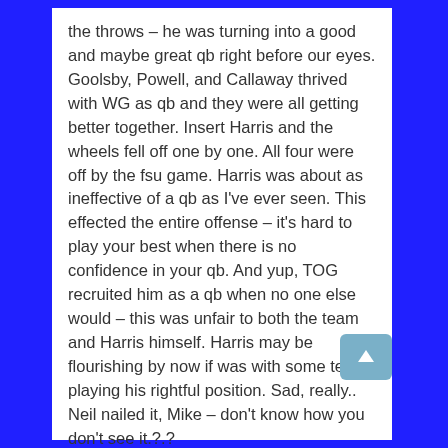the throws – he was turning into a good and maybe great qb right before our eyes. Goolsby, Powell, and Callaway thrived with WG as qb and they were all getting better together. Insert Harris and the wheels fell off one by one. All four were off by the fsu game. Harris was about as ineffective of a qb as I've ever seen. This effected the entire offense – it's hard to play your best when there is no confidence in your qb. And yup, TOG recruited him as a qb when no one else would – this was unfair to both the team and Harris himself. Harris may be flourishing by now if was with some team playing his rightful position. Sad, really.. Neil nailed it, Mike – don't know how you don't see it.?.?